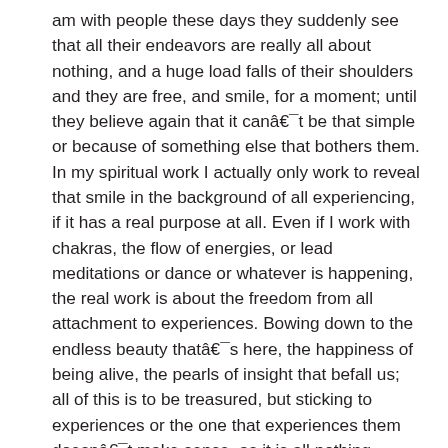am with people these days they suddenly see that all their endeavors are really all about nothing, and a huge load falls of their shoulders and they are free, and smile, for a moment; until they believe again that it canâ«t be that simple or because of something else that bothers them. In my spiritual work I actually only work to reveal that smile in the background of all experiencing, if it has a real purpose at all. Even if I work with chakras, the flow of energies, or lead meditations or dance or whatever is happening, the real work is about the freedom from all attachment to experiences. Bowing down to the endless beauty thatâªs here, the happiness of being alive, the pearls of insight that befall us; all of this is to be treasured, but sticking to experiences or the one that experiences them doesnâ«t make sense, as it is all nothing special. That one has to discover for oneself though.